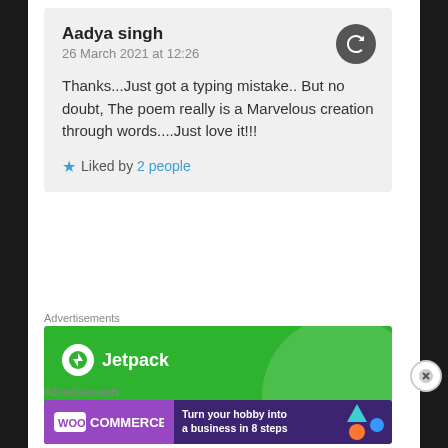Aadya singh
26 March 2021 at 12:26

Thanks...Just got a typing mistake.. But no doubt, The poem really is a Marvelous creation through words....Just love it!!!
Liked by 2 people
Advertisements
[Figure (screenshot): Jetpack advertisement banner: green background with circle decoration, Jetpack logo, and text 'We guard your WordPress site']
Advertisements
[Figure (screenshot): WooCommerce advertisement: purple background with logo and text 'Turn your hobby into a business in 8 steps']